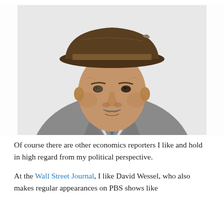[Figure (photo): Portrait photo of a middle-aged man wearing a brown fedora hat, grey suit jacket, white checkered shirt, and a teal/blue/green patterned tie. He has a grey mustache and is smiling slightly against a white background.]
Of course there are other economics reporters I like and hold in high regard from my political perspective.
At the Wall Street Journal, I like David Wessel, who also makes regular appearances on PBS shows like